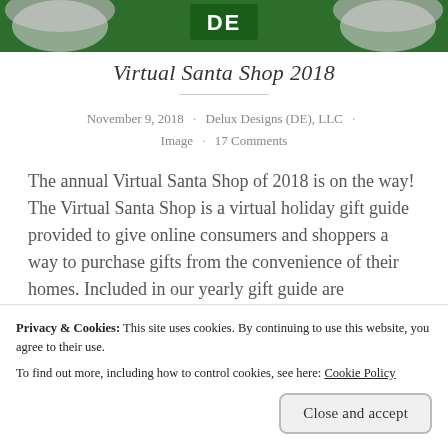[Figure (photo): Top banner image with green background, decorative holiday elements including Santa/reindeer imagery, and 'DE' text/logo in center]
Virtual Santa Shop 2018
November 9, 2018 · Delux Designs (DE), LLC · Image · 17 Comments
The annual Virtual Santa Shop of 2018 is on the way! The Virtual Santa Shop is a virtual holiday gift guide provided to give online consumers and shoppers a way to purchase gifts from the convenience of their homes. Included in our yearly gift guide are companies, brands and
Privacy & Cookies: This site uses cookies. By continuing to use this website, you agree to their use.
To find out more, including how to control cookies, see here: Cookie Policy
Close and accept